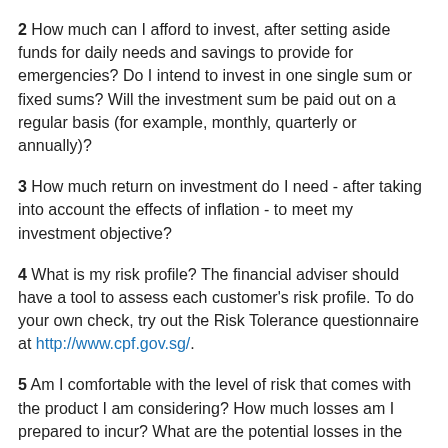2 How much can I afford to invest, after setting aside funds for daily needs and savings to provide for emergencies? Do I intend to invest in one single sum or fixed sums? Will the investment sum be paid out on a regular basis (for example, monthly, quarterly or annually)?
3 How much return on investment do I need - after taking into account the effects of inflation - to meet my investment objective?
4 What is my risk profile? The financial adviser should have a tool to assess each customer's risk profile. To do your own check, try out the Risk Tolerance questionnaire at http://www.cpf.gov.sg/.
5 Am I comfortable with the level of risk that comes with the product I am considering? How much losses am I prepared to incur? What are the potential losses in the worst-case scenario for the product I am considering?
6 Does the product meet my investment objective and